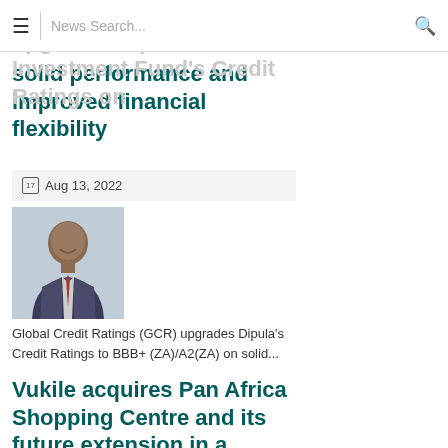News Search...
solid performance and improved financial flexibility
Aug 13, 2022
[Figure (photo): Portrait photo of a man in a suit and tie, smiling]
Global Credit Ratings (GCR) upgrades Dipula's Credit Ratings to BBB+ (ZA)/A2(ZA) on solid...
Vukile acquires Pan Africa Shopping Centre and its future extension in a milestone R669 million transaction
Aug 11, 2022